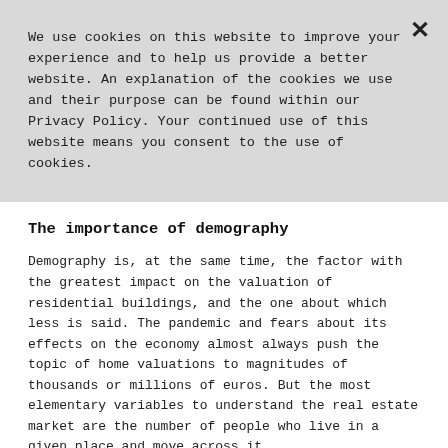We use cookies on this website to improve your experience and to help us provide a better website. An explanation of the cookies we use and their purpose can be found within our Privacy Policy. Your continued use of this website means you consent to the use of cookies.
The importance of demography
Demography is, at the same time, the factor with the greatest impact on the valuation of residential buildings, and the one about which less is said. The pandemic and fears about its effects on the economy almost always push the topic of home valuations to magnitudes of thousands or millions of euros. But the most elementary variables to understand the real estate market are the number of people who live in a given place and move across it.
2021 is the year of population censuses in Portugal, one more reason not to ignore such evidence. Do you know which are the ten most populous municipalities in the country? In descending order: Lisbon, Sintra, Vila Nova de Gaia, Oporto, Cascais, Loures